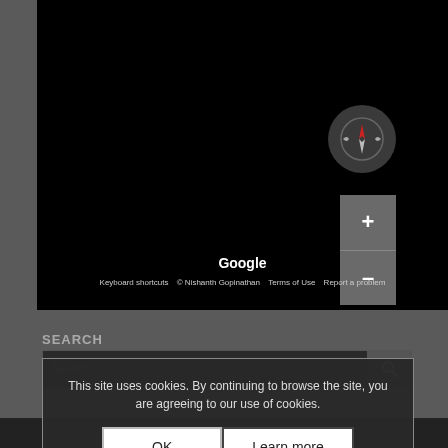[Figure (screenshot): Google Maps dark map area, mostly black, with compass button and zoom controls on the right side. Footer shows 'Google', 'Keyboard shortcuts', '© Nishanth Gopinathan', 'Terms of Use', 'Report a problem'.]
SEARCH
This site uses cookies. By continuing to browse the site, you are agreeing to our use of cookies.
OK
Learn more